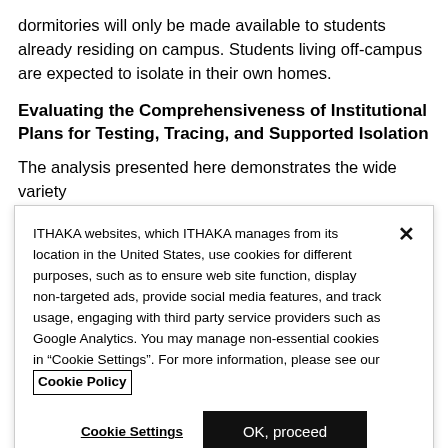dormitories will only be made available to students already residing on campus. Students living off-campus are expected to isolate in their own homes.
Evaluating the Comprehensiveness of Institutional Plans for Testing, Tracing, and Supported Isolation
The analysis presented here demonstrates the wide variety
ITHAKA websites, which ITHAKA manages from its location in the United States, use cookies for different purposes, such as to ensure web site function, display non-targeted ads, provide social media features, and track usage, engaging with third party service providers such as Google Analytics. You may manage non-essential cookies in “Cookie Settings”. For more information, please see our Cookie Policy
Cookie Settings
OK, proceed